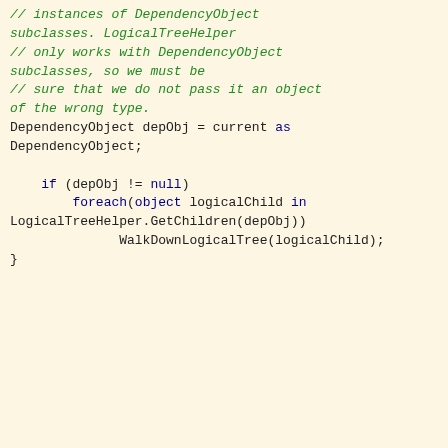// instances of DependencyObject subclasses. LogicalTreeHelper
    // only works with DependencyObject subclasses, so we must be
    // sure that we do not pass it an object of the wrong type.
    DependencyObject depObj = current as DependencyObject;

        if (depObj != null)
            foreach(object logicalChild in LogicalTreeHelper.GetChildren(depObj))
                WalkDownLogicalTree(logicalChild);
}
[Figure (screenshot): Cookie consent banner with orange background. Text: 'Like every other website we use cookies. By using our site you acknowledge that you have read and understand our Cookie Policy, Privacy Policy, and our Terms of Service. Learn more'. Buttons: 'Ask me later', 'Decline', 'Allow cookies'.]
ave one visual ical trees. to each other, Helper to I refer to the main logical within it as "logical islands". Logical islands are really just regular